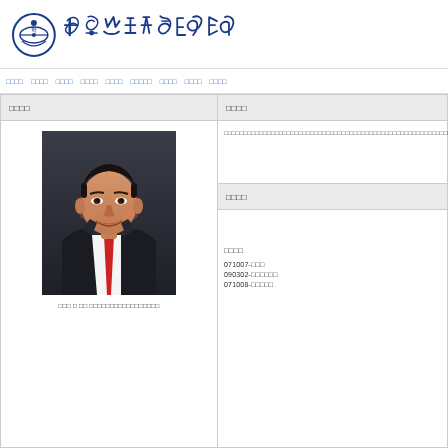[Figure (logo): Korean government organization logo with circular emblem and stylized Korean calligraphy text in dark blue]
Nav bar with Korean menu items in blue
Korean section header left panel
[Figure (photo): Professional headshot of middle-aged Asian man in dark suit with red tie, smiling]
Korean caption text below the photo
Korean section header right top
Korean text content in right top panel
Korean section header right bottom
Korean label and entries: 071007-□□□, 090302-□□□□□□, 071008-□□□□□